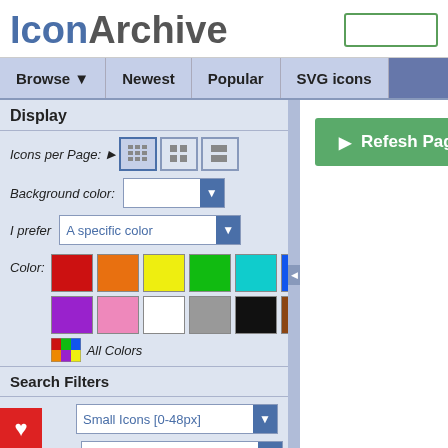IconArchive
Browse ▼   Newest   Popular   SVG icons
Display
Icons per Page:
Background color:
I prefer  A specific color
Color:
All Colors
Search Filters
Size: Small Icons [0-48px]
Category: Avatar
Style: Soft / Smooth
[Figure (screenshot): Refresh Page green button]
[Figure (other): Color swatches grid: red, orange, yellow, green, cyan, blue, purple, pink, white, gray, black, brown, and All Colors option]